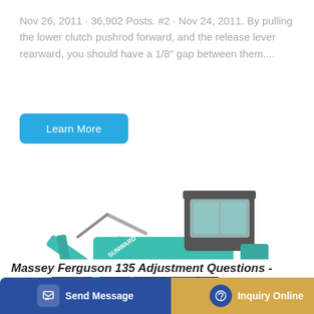Nov 26, 2011 · 36,902 Posts. #2 · Nov 24, 2011. By pulling the lower clutch pushrod forward, and the release lever rearward, you should have a 1/8" gap between them....
Learn More
[Figure (photo): A teal/turquoise Sunward mini excavator with a cab, articulated arm, and bucket, shown on a white background. The machine has rubber tracks and the brand name SUNWARD visible on the boom.]
Send Message
Inquiry Online
Massey Ferguson 135 Adjustment Questions -